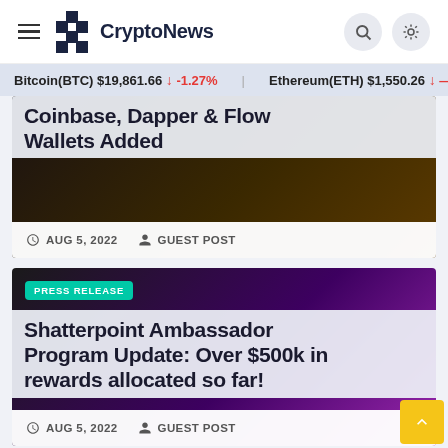CryptoNews
Bitcoin(BTC) $19,861.66 ↓ -1.27%   Ethereum(ETH) $1,550.26 ↓ —
Coinbase, Dapper & Flow Wallets Added
AUG 5, 2022   GUEST POST
PRESS RELEASE
Shatterpoint Ambassador Program Update: Over $500k in rewards allocated so far!
AUG 5, 2022   GUEST POST